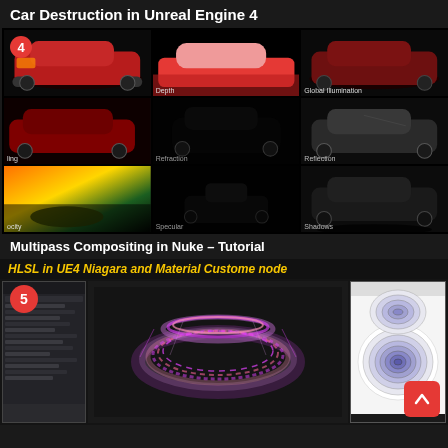Car Destruction in Unreal Engine 4
[Figure (screenshot): 3x3 grid of render pass thumbnails of a 3D car model: original render, depth pass (red silhouette), global illumination, shading, refraction (dark), reflection (grayscale), velocity, specular, shadows]
Multipass Compositing in Nuke – Tutorial
HLSL in UE4 Niagara and Material Custome node
[Figure (screenshot): HLSL in UE4 Niagara tutorial thumbnail showing a pink/magenta particle ring torus shape, with UI panels on left and a contour map on right. Badge number 5 visible.]